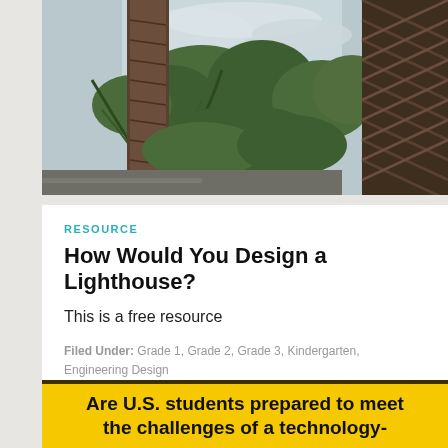[Figure (photo): Photograph of palm trees and tropical vegetation against a cloudy sky, viewed from below looking up]
RESOURCE
How Would You Design a Lighthouse?
This is a free resource
Filed Under: Grade 1, Grade 2, Grade 3, Kindergarten, Engineering Design
Are U.S. students prepared to meet the challenges of a technology-